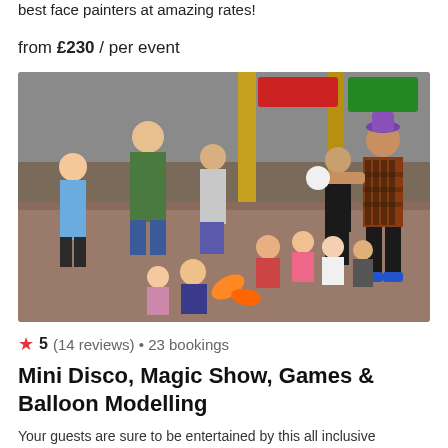best face painters at amazing rates!
from £230 / per event
[Figure (photo): A performer in a patterned shirt and purple hat doing a magic or juggling show for a group of children seated on the floor of a large indoor hall, with adults watching in the background. A child in the foreground holds a balloon animal.]
5 (14 reviews) • 23 bookings
Mini Disco, Magic Show, Games & Balloon Modelling
Your guests are sure to be entertained by this all inclusive